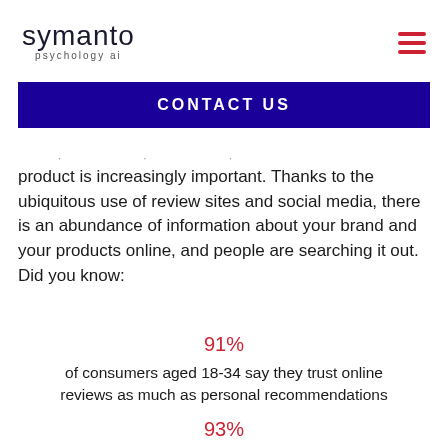symanto psychology ai
CONTACT US
product is increasingly important. Thanks to the ubiquitous use of review sites and social media, there is an abundance of information about your brand and your products online, and people are searching it out. Did you know:
91%
of consumers aged 18-34 say they trust online reviews as much as personal recommendations
93%